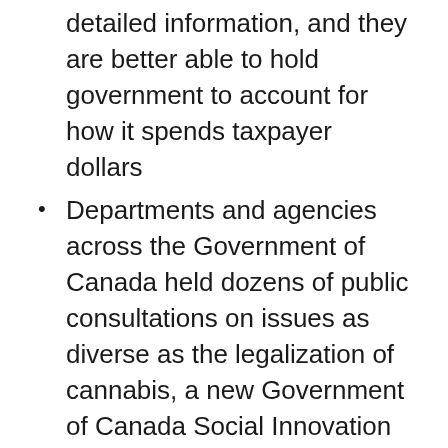detailed information, and they are better able to hold government to account for how it spends taxpayer dollars
Departments and agencies across the Government of Canada held dozens of public consultations on issues as diverse as the legalization of cannabis, a new Government of Canada Social Innovation and Social Finance Strategy, the protection of oceans, the Government of Canada's approach to big data and innovation, the transition to a low carbon energy future, and the federal budget